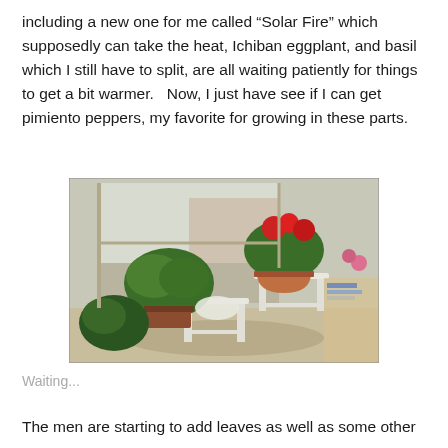including a new one for me called “Solar Fire” which supposedly can take the heat, Ichiban eggplant, and basil which I still have to split, are all waiting patiently for things to get a bit warmer.   Now, I just have see if I can get pimiento peppers, my favorite for growing in these parts.
[Figure (photo): Indoor photo of potted plants with red geraniums on white stools near a large window. Natural light streams in from outside. Multiple green plants and flowering plants arranged on and around white furniture, with books and other items visible on the right side.]
Waiting...
The men are starting to add leaves as well as some other